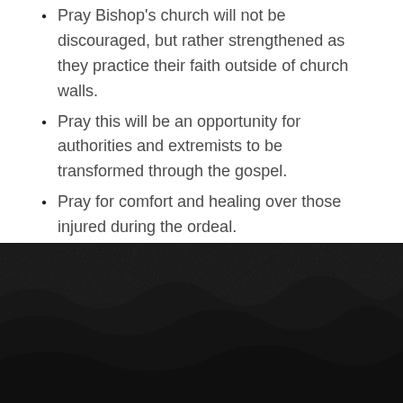Pray Bishop's church will not be discouraged, but rather strengthened as they practice their faith outside of church walls.
Pray this will be an opportunity for authorities and extremists to be transformed through the gospel.
Pray for comfort and healing over those injured during the ordeal.
Stay updated with the latest news from the persecuted church.
[Figure (photo): Dark textured background image, black/dark grey rocky or stone-like surface.]